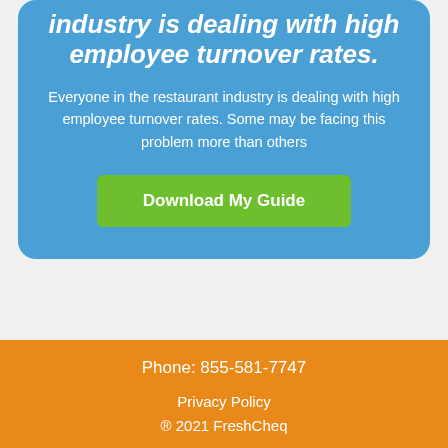industry is dealing with high employee turnover rates.
Everyone in the restaurant industry is dealing with high employee turnover rates. Some may be facing this problem more than others
Download My Guide
Phone: 855-581-7747
Privacy Policy
® 2021 FreshCheq